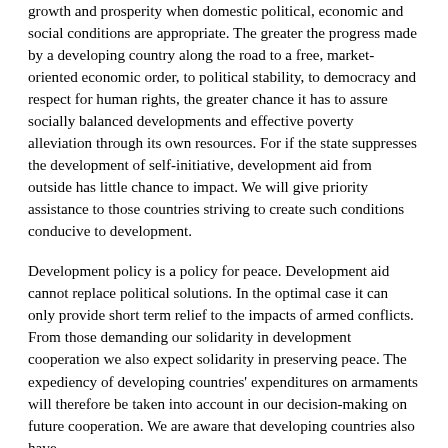growth and prosperity when domestic political, economic and social conditions are appropriate. The greater the progress made by a developing country along the road to a free, market-oriented economic order, to political stability, to democracy and respect for human rights, the greater chance it has to assure socially balanced developments and effective poverty alleviation through its own resources. For if the state suppresses the development of self-initiative, development aid from outside has little chance to impact. We will give priority assistance to those countries striving to create such conditions conducive to development.
Development policy is a policy for peace. Development aid cannot replace political solutions. In the optimal case it can only provide short term relief to the impacts of armed conflicts. From those demanding our solidarity in development cooperation we also expect solidarity in preserving peace. The expediency of developing countries' expenditures on armaments will therefore be taken into account in our decision-making on future cooperation. We are aware that developing countries also have